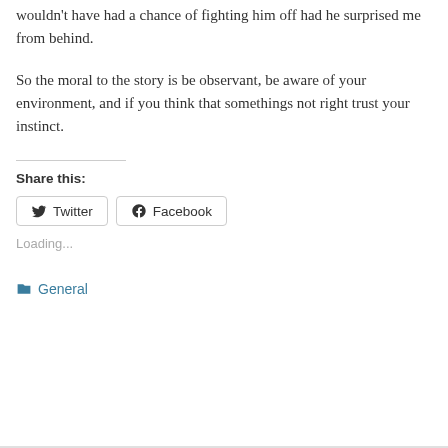wouldn't have had a chance of fighting him off had he surprised me from behind.
So the moral to the story is be observant, be aware of your environment, and if you think that somethings not right trust your instinct.
Share this:
Twitter Facebook
Loading...
General